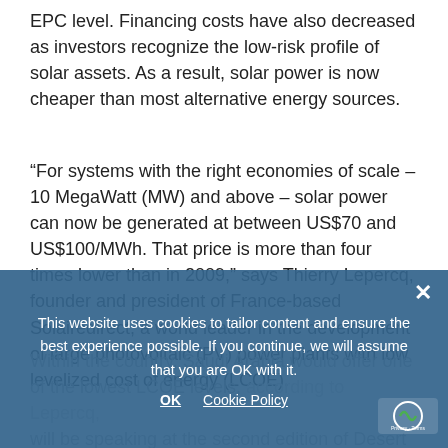EPC level. Financing costs have also decreased as investors recognize the low-risk profile of solar assets. As a result, solar power is now cheaper than most alternative energy sources.
“For systems with the right economies of scale – 10 MegaWatt (MW) and above – solar power can now be generated at between US$70 and US$100/MWh. That price is more than four times lower than in 2009,” says Thierry Lepercq, founder and president of France-based Solairedirect, a world leader in the development of large photovoltaic (PV) power plants with low levelized cost of energy (LCOE).
Within the country, Saudi Arabia would offer one of the lowest LCOE levels, according to Lepercq, will be speaking at the second edition of Desert Saudi Arabia conference that will be held from 17-18
This website uses cookies to tailor content and ensure the best experience possible. If you continue, we will assume that you are OK with it.